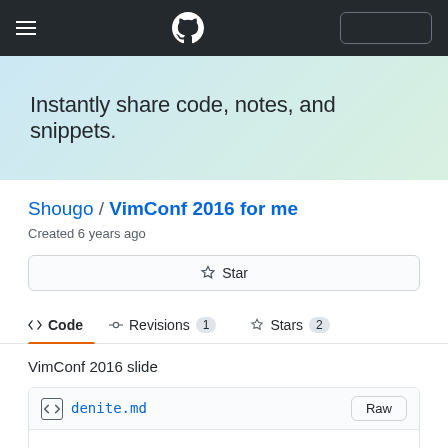[Figure (screenshot): GitHub navigation bar with hamburger menu, GitHub Octocat logo, and a rectangular button outline on dark background]
Instantly share code, notes, and snippets.
Shougo / VimConf 2016 for me
Created 6 years ago
[Figure (other): Star button with star icon]
Code
Revisions 1
Stars 2
VimConf 2016 slide
denite.md
Raw